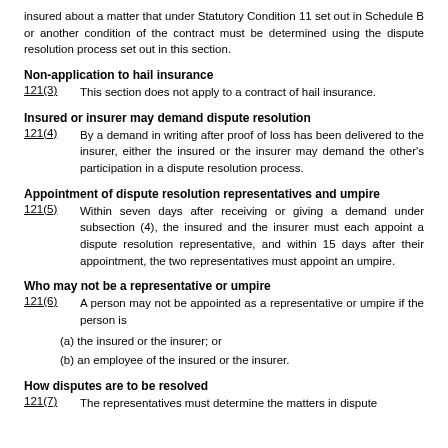insured about a matter that under Statutory Condition 11 set out in Schedule B or another condition of the contract must be determined using the dispute resolution process set out in this section.
Non-application to hail insurance
121(3)      This section does not apply to a contract of hail insurance.
Insured or insurer may demand dispute resolution
121(4)      By a demand in writing after proof of loss has been delivered to the insurer, either the insured or the insurer may demand the other's participation in a dispute resolution process.
Appointment of dispute resolution representatives and umpire
121(5)      Within seven days after receiving or giving a demand under subsection (4), the insured and the insurer must each appoint a dispute resolution representative, and within 15 days after their appointment, the two representatives must appoint an umpire.
Who may not be a representative or umpire
121(6)      A person may not be appointed as a representative or umpire if the person is
(a) the insured or the insurer; or
(b) an employee of the insured or the insurer.
How disputes are to be resolved
121(7)      The representatives must determine the matters in dispute